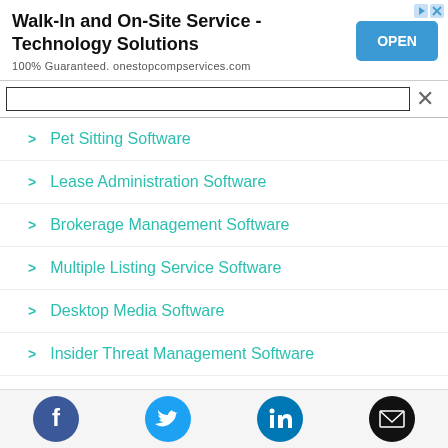[Figure (screenshot): Advertisement banner for Walk-In and On-Site Service - Technology Solutions with OPEN button]
Pet Sitting Software
Lease Administration Software
Brokerage Management Software
Multiple Listing Service Software
Desktop Media Software
Insider Threat Management Software
[Figure (infographic): Social media icons row: Facebook, Twitter, LinkedIn, Email]